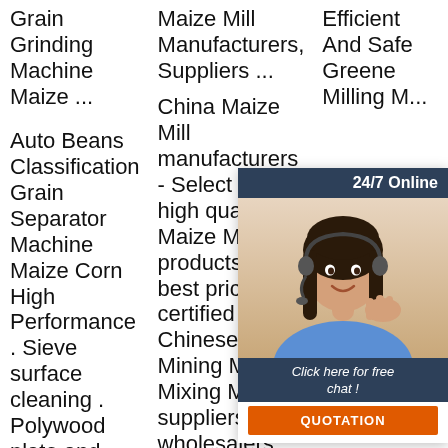Grain Grinding Machine Maize ...
Maize Mill Manufacturers, Suppliers ...
Efficient And Safe Greene Milling M...
Auto Beans Classification Grain Separator Machine Maize Corn High Performance . Sieve surface cleaning . Polywood plate and Nylon brush cleaning keep the sieve
China Maize Mill manufacturers - Select 2021 high quality Maize Mill products in best price from certified Chinese Mining Mill, Mixing Mill suppliers, wholesalers and factory on
Al... ar... gr... m... yo... un... hu... bustle involved with food processing. gree milling machine is a well-
[Figure (illustration): Customer service chat widget with a photo of a woman wearing a headset, dark blue header reading '24/7 Online', text 'Click here for free chat!', and an orange QUOTATION button.]